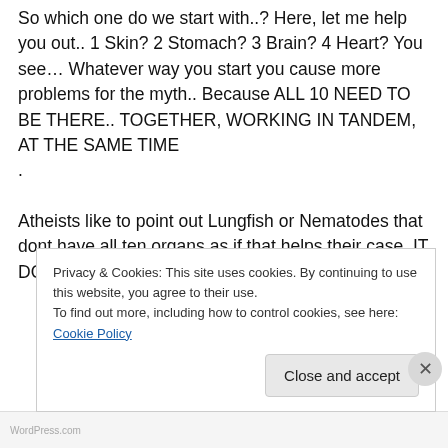So which one do we start with..? Here, let me help you out.. 1 Skin? 2 Stomach? 3 Brain? 4 Heart? You see… Whatever way you start you cause more problems for the myth.. Because ALL 10 NEED TO BE THERE.. TOGETHER, WORKING IN TANDEM, AT THE SAME TIME .

Atheists like to point out Lungfish or Nematodes that dont have all ten organs as if that helps their case. IT DOES NOT… Lungfish and Nematodes
Privacy & Cookies: This site uses cookies. By continuing to use this website, you agree to their use.
To find out more, including how to control cookies, see here: Cookie Policy
Close and accept